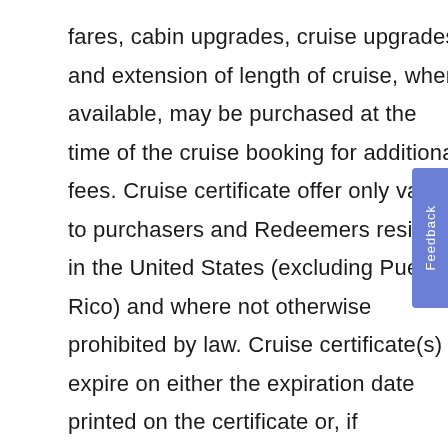fares, cabin upgrades, cruise upgrades and extension of length of cruise, when available, may be purchased at the time of the cruise booking for additional fees. Cruise certificate offer only valid to purchasers and Redeemers residing in the United States (excluding Puerto Rico) and where not otherwise prohibited by law. Cruise certificate(s) expire on either the expiration date printed on the certificate or, if applicable, the expiration date found online under “My Certificates”. Redeemer must book the cruise, regardless of the travel date, on or before the certificate expiration. In the event a certificate has a printed expiration date and an